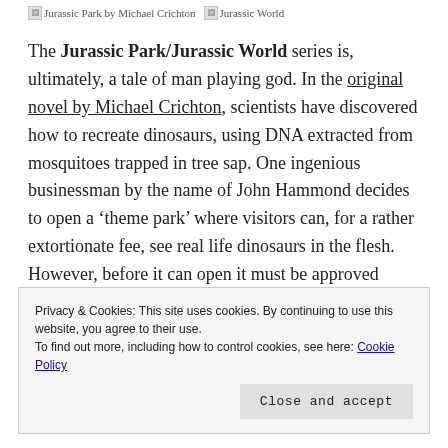[Figure (illustration): Two broken image placeholders with alt text: 'Jurassic Park by Michael Crichton' and 'Jurassic World']
The Jurassic Park/Jurassic World series is, ultimately, a tale of man playing god. In the original novel by Michael Crichton, scientists have discovered how to recreate dinosaurs, using DNA extracted from mosquitoes trapped in tree sap. One ingenious businessman by the name of John Hammond decides to open a 'theme park' where visitors can, for a rather extortionate fee, see real life dinosaurs in the flesh. However, before it can open it must be approved
Privacy & Cookies: This site uses cookies. By continuing to use this website, you agree to their use.
To find out more, including how to control cookies, see here: Cookie Policy
Close and accept
approve…